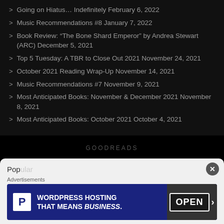Going on Hiatus… Indefinitely February 6, 2022
Music Recommendations #8 January 7, 2022
Book Review: “The Bone Shard Emperor” by Andrea Stewart (ARC) December 5, 2021
Top 5 Tuesday: A TBR to Close Out 2021 November 24, 2021
October 2021 Reading Wrap-Up November 14, 2021
Music Recommendations #7 November 9, 2021
Most Anticipated Books: November & December 2021 November 8, 2021
Most Anticipated Books: October 2021 October 4, 2021
GOODREADS
Popular
Advertisements
WORDPRESS HOSTING THAT MEANS BUSINESS.